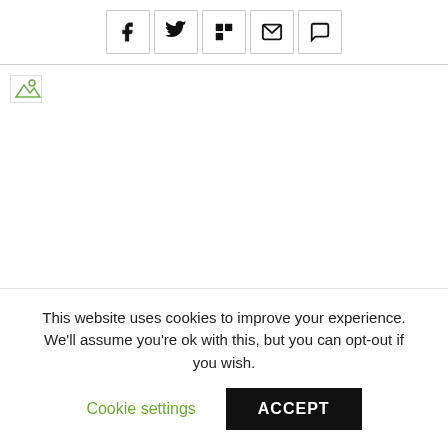[Figure (other): Social share buttons row: Facebook, Twitter, Flipboard, Email, Comment icons in bordered square buttons]
[Figure (photo): Broken/loading image placeholder with small green and white image icon in the top-left corner, large white space below]
This website uses cookies to improve your experience. We'll assume you're ok with this, but you can opt-out if you wish.
Cookie settings
ACCEPT